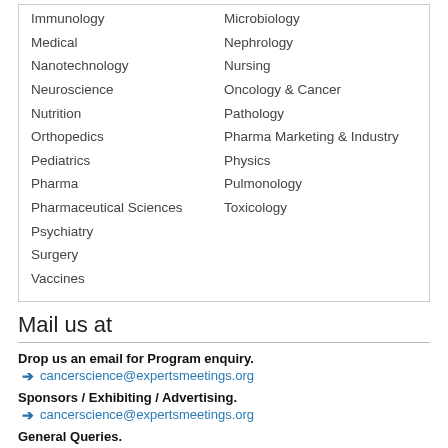Immunology
Medical
Nanotechnology
Neuroscience
Nutrition
Orthopedics
Pediatrics
Pharma
Pharmaceutical Sciences
Psychiatry
Surgery
Vaccines
Microbiology
Nephrology
Nursing
Oncology & Cancer
Pathology
Pharma Marketing & Industry
Physics
Pulmonology
Toxicology
Mail us at
Drop us an email for Program enquiry.
cancerscience@expertsmeetings.org
Sponsors / Exhibiting / Advertising.
cancerscience@expertsmeetings.org
General Queries.
cancerscience@expertsmeetings.org